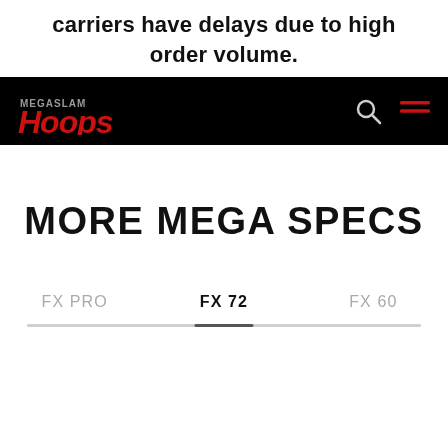carriers have delays due to high order volume.
[Figure (logo): MegaSlam Hoops logo with red stylized text on black navigation bar, with search and menu icons on the right]
MORE MEGA SPECS
FX PRO   FX 72   FX 60